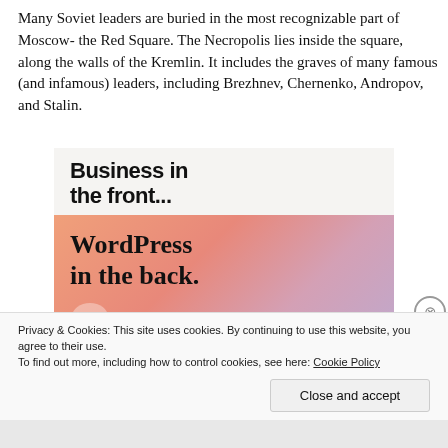Many Soviet leaders are buried in the most recognizable part of Moscow- the Red Square. The Necropolis lies inside the square, along the walls of the Kremlin. It includes the graves of many famous (and infamous) leaders, including Brezhnev, Chernenko, Andropov, and Stalin.
[Figure (other): Advertisement banner showing 'Business in the front...' text on gray background above an orange/pink gradient section reading 'WordPress in the back.' with decorative circular shapes]
Privacy & Cookies: This site uses cookies. By continuing to use this website, you agree to their use.
To find out more, including how to control cookies, see here: Cookie Policy
Close and accept